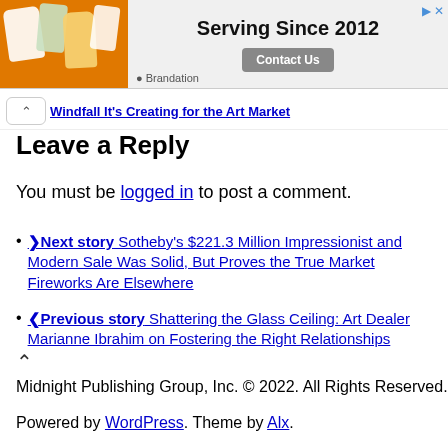[Figure (illustration): Advertisement banner with orange background showing product bottles and 'Serving Since 2012' text with Contact Us button. Brandation brand.]
Windfall It's Creating for the Art Market
Leave a Reply
You must be logged in to post a comment.
Next story Sotheby's $221.3 Million Impressionist and Modern Sale Was Solid, But Proves the True Market Fireworks Are Elsewhere
Previous story Shattering the Glass Ceiling: Art Dealer Marianne Ibrahim on Fostering the Right Relationships
Midnight Publishing Group, Inc. © 2022. All Rights Reserved.
Powered by WordPress. Theme by Alx.